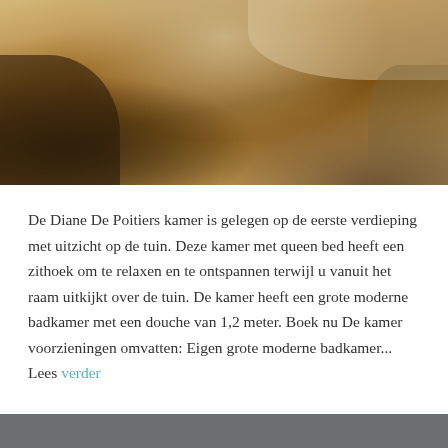[Figure (photo): Interior photo of the Diane De Poitiers room showing hardwood floors, chairs, and a bed with floral linens]
De Diane De Poitiers kamer is gelegen op de eerste verdieping met uitzicht op de tuin. Deze kamer met queen bed heeft een zithoek om te relaxen en te ontspannen terwijl u vanuit het raam uitkijkt over de tuin. De kamer heeft een grote moderne badkamer met een douche van 1,2 meter. Boek nu De kamer voorzieningen omvatten: Eigen grote moderne badkamer... Lees verder
AANGEDREVEN DOOR WORDPRESS.COM.